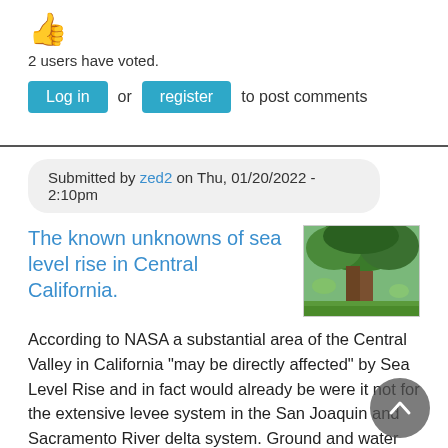[Figure (illustration): Thumbs up emoji in orange/gold color]
2 users have voted.
Log in or register to post comments
Submitted by zed2 on Thu, 01/20/2022 - 2:10pm
The known unknowns of sea level rise in Central California.
[Figure (photo): Photo of large tree in a green forest]
According to NASA a substantial area of the Central Valley in California "may be directly affected" by Sea Level Rise and in fact would already be were it not for the extensive levee system in the San Joaquin and Sacramento River delta system. Ground and water levels in the delta